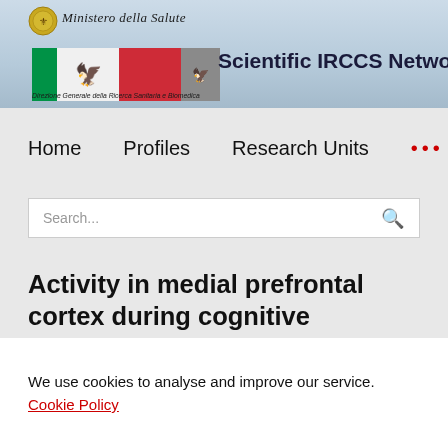Scientific IRCCS Network – Ministero della Salute – Direzione Generale della Ricerca Sanitaria e Biomedica
Home   Profiles   Research Units   ...
Search...
Activity in medial prefrontal cortex during cognitive evaluation of threatening stimuli as a function
We use cookies to analyse and improve our service. Cookie Policy